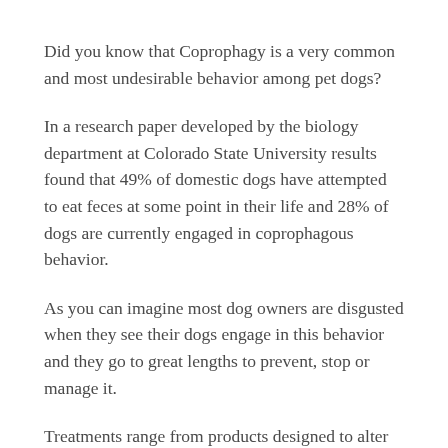Did you know that Coprophagy is a very common and most undesirable behavior among pet dogs?
In a research paper developed by the biology department at Colorado State University results found that 49% of domestic dogs have attempted to eat feces at some point in their life and 28% of dogs are currently engaged in coprophagous behavior.
As you can imagine most dog owners are disgusted when they see their dogs engage in this behavior and they go to great lengths to prevent, stop or manage it.
Treatments range from products designed to alter the actual fecal compound to the placement of an aversive substances on the fecal matters such as